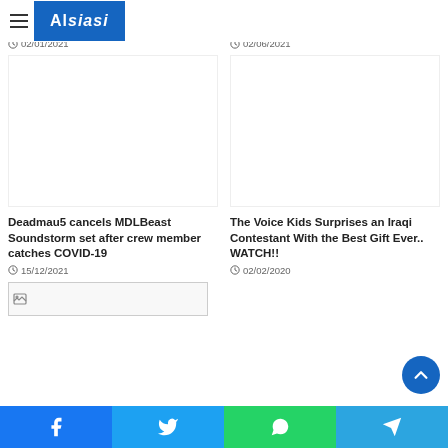Alsiasi
Coronavirus: The facts about the spark 2022 moviegoing
02/01/2021
July 1: SAFAR Film Fest is Back to Show off Arab Movie Talent
02/06/2021
Deadmau5 cancels MDLBeast Soundstorm set after crew member catches COVID-19
15/12/2021
The Voice Kids Surprises an Iraqi Contestant With the Best Gift Ever.. WATCH!!
02/02/2020
[Figure (photo): Broken/missing image placeholder]
Facebook Twitter WhatsApp Telegram share buttons